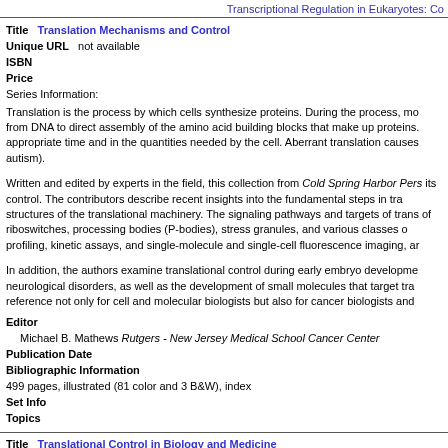Transcriptional Regulation in Eukaryotes: Co
Title Translation Mechanisms and Control
Unique URL not available
ISBN
Price
Series Information:
Translation is the process by which cells synthesize proteins. During the process, mo from DNA to direct assembly of the amino acid building blocks that make up proteins. appropriate time and in the quantities needed by the cell. Aberrant translation causes autism).
Written and edited by experts in the field, this collection from Cold Spring Harbor Pers its control. The contributors describe recent insights into the fundamental steps in tra structures of the translational machinery. The signaling pathways and targets of trans of riboswitches, processing bodies (P-bodies), stress granules, and various classes o profiling, kinetic assays, and single-molecule and single-cell fluorescence imaging, ar
In addition, the authors examine translational control during early embryo developme neurological disorders, as well as the development of small molecules that target tra reference not only for cell and molecular biologists but also for cancer biologists and
Editor
Michael B. Mathews Rutgers - New Jersey Medical School Cancer Center
Publication Date
Bibliographic Information
499 pages, illustrated (81 color and 3 B&W), index
Set Info
Topics
Title Translational Control in Biology and Medicine
Unique URL http://www.cshipress.com/link/tranbio.htm